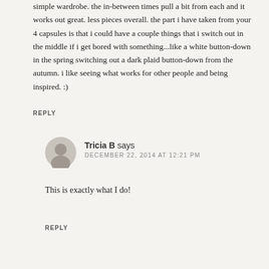simple wardrobe. the in-between times pull a bit from each and it works out great. less pieces overall. the part i have taken from your 4 capsules is that i could have a couple things that i switch out in the middle if i get bored with something...like a white button-down in the spring switching out a dark plaid button-down from the autumn. i like seeing what works for other people and being inspired. :)
REPLY
Tricia B says
DECEMBER 22, 2014 AT 12:21 PM
This is exactly what I do!
REPLY